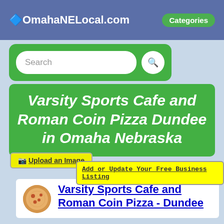🔷OmahaNELocal.com  Categories
[Figure (screenshot): Search bar with green background and rounded white input field]
Varsity Sports Cafe and Roman Coin Pizza Dundee in Omaha Nebraska
📷 Upload an Image
Add or Update Your Free Business Listing
Varsity Sports Cafe and Roman Coin Pizza - Dundee